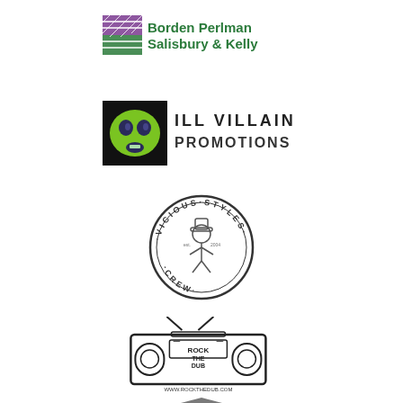[Figure (logo): Borden Perlman Salisbury & Kelly logo with purple and green graphic mark on the left and green text on the right]
[Figure (logo): Ill Villain Promotions logo with a black square containing a green alien/villain face graphic and dark text 'ILL VILLAIN PROMOTIONS' to the right]
[Figure (logo): Vicious Styles Crew circular logo in black and white line art showing a character in the center surrounded by the text 'VICIOUS STYLES CREW']
[Figure (logo): Rock The Dub logo showing a boombox/radio with TV antennas and text 'ROCK THE DUB' and 'WWW.ROCKTHEDUB.COM' in black and white illustration style]
[Figure (logo): Partial logo at bottom, cut off]